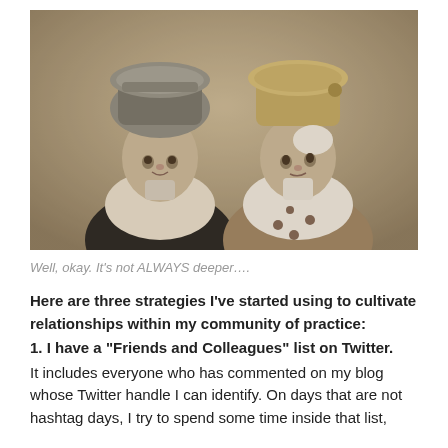[Figure (photo): Vintage sepia-toned black and white photograph of two women sitting under old-fashioned salon hair dryer hoods, wearing salon capes, looking at each other with amused expressions.]
Well, okay. It's not ALWAYS deeper….
Here are three strategies I've started using to cultivate relationships within my community of practice:
1. I have a “Friends and Colleagues” list on Twitter. It includes everyone who has commented on my blog whose Twitter handle I can identify. On days that are not hashtag days, I try to spend some time inside that list,